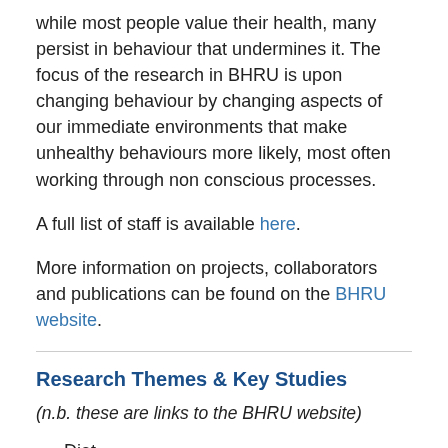while most people value their health, many persist in behaviour that undermines it. The focus of the research in BHRU is upon changing behaviour by changing aspects of our immediate environments that make unhealthy behaviours more likely, most often working through non conscious processes.
A full list of staff is available here.
More information on projects, collaborators and publications can be found on the BHRU website.
Research Themes & Key Studies
(n.b. these are links to the BHRU website)
Diet http://www.bhru.iph.cam.ac.uk/research/diet/
Alcohol consumption http://www.bhru.iph.cam.ac.uk/research/alcohol-consumption/
Physical Activity http://www.bhru.iph.cam.ac.uk/research/physical-